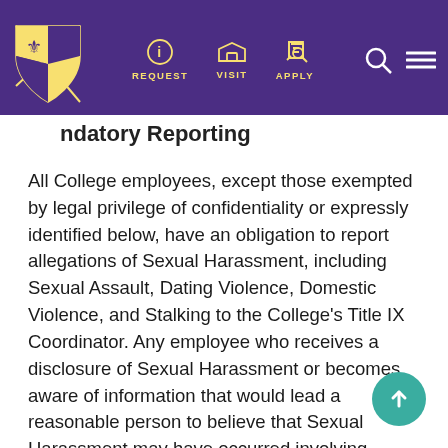[Figure (screenshot): University website navigation bar with shield logo, REQUEST, VISIT, APPLY icons, search and menu icons on purple background]
ndatory Reporting
All College employees, except those exempted by legal privilege of confidentiality or expressly identified below, have an obligation to report allegations of Sexual Harassment, including Sexual Assault, Dating Violence, Domestic Violence, and Stalking to the College's Title IX Coordinator. Any employee who receives a disclosure of Sexual Harassment or becomes aware of information that would lead a reasonable person to believe that Sexual Harassment may have occurred involving anyone covered under this policy, must report all known information. Employees who have an obligation to report under this policy should st treat this information as private, and only share